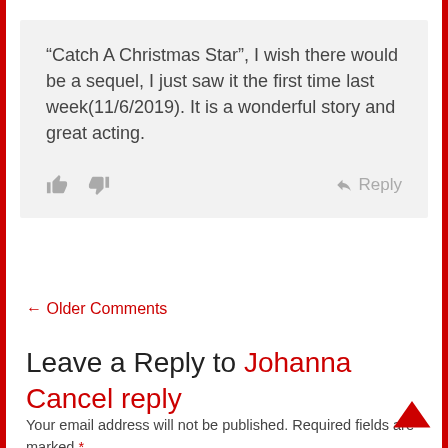“Catch A Christmas Star”, I wish there would be a sequel, I just saw it the first time last week(11/6/2019). It is a wonderful story and great acting.
[Figure (illustration): Thumbs up icon, thumbs down icon, and reply arrow with text Reply]
← Older Comments
Leave a Reply to Johanna   Cancel reply
Your email address will not be published. Required fields are marked *